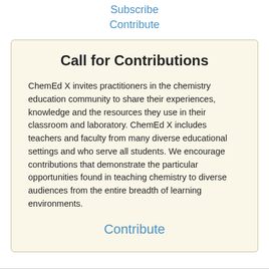Subscribe
Contribute
Call for Contributions
ChemEd X invites practitioners in the chemistry education community to share their experiences, knowledge and the resources they use in their classroom and laboratory. ChemEd X includes teachers and faculty from many diverse educational settings and who serve all students. We encourage contributions that demonstrate the particular opportunities found in teaching chemistry to diverse audiences from the entire breadth of learning environments.
Contribute